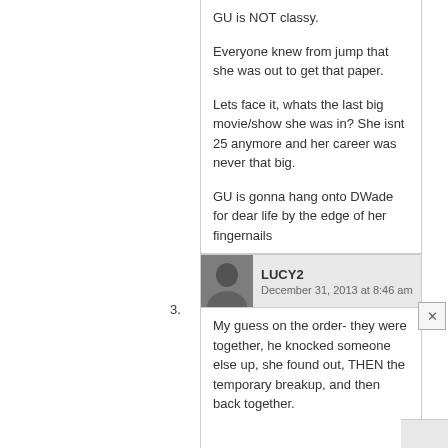GU is NOT classy.

Everyone knew from jump that she was out to get that paper.

Lets face it, whats the last big movie/show she was in? She isnt 25 anymore and her career was never that big.

GU is gonna hang onto DWade for dear life by the edge of her fingernails
3.
LUCY2
December 31, 2013 at 8:46 am
My guess on the order- they were together, he knocked someone else up, she found out, THEN the temporary breakup, and then back together.